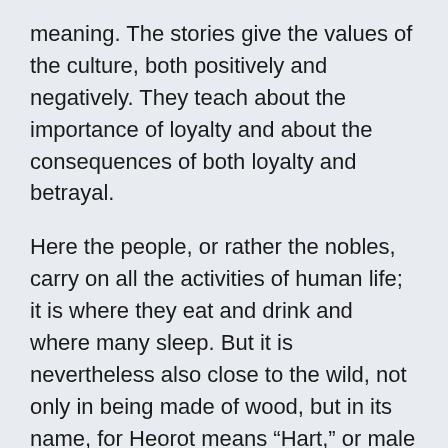meaning. The stories give the values of the culture, both positively and negatively. They teach about the importance of loyalty and about the consequences of both loyalty and betrayal.
Here the people, or rather the nobles, carry on all the activities of human life; it is where they eat and drink and where many sleep. But it is nevertheless also close to the wild, not only in being made of wood, but in its name, for Heorot means “Hart,” or male deer–a noble animal but still animal. In being wood, like others mentioned in the poem, it can be and will be burned, with great slaughter. The humans who live here can and will be terrible to one another. Moreover, Heorot’s bright lights